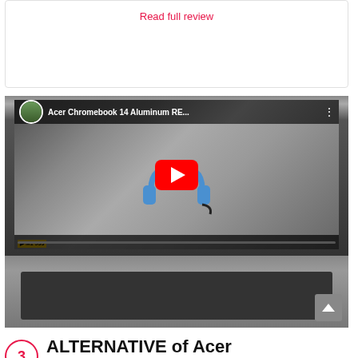Read full review
[Figure (screenshot): YouTube video thumbnail showing Acer Chromebook 14 Aluminum review video, with a laptop screen displaying blue headphones and a YouTube play button overlay. Video title reads 'Acer Chromebook 14 Aluminum RE...']
ALTERNATIVE of Acer Chromebook 14